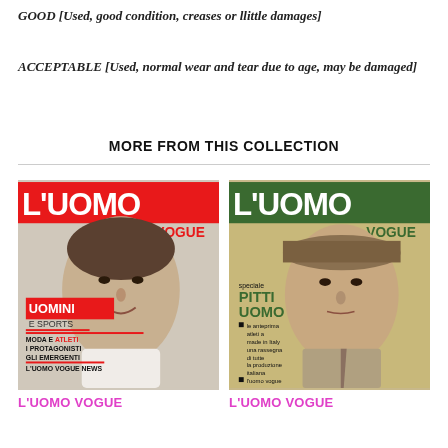GOOD [Used, good condition, creases or llittle damages]
ACCEPTABLE [Used, normal wear and tear due to age, may be damaged]
MORE FROM THIS COLLECTION
[Figure (photo): Magazine cover of L'UOMO VOGUE showing a smiling man in black and white with red text UOMINI E SPORTS, MODA E ATLETI I PROTAGONISTI GLI EMERGENTI, L'UOMO VOGUE NEWS]
[Figure (photo): Magazine cover of L'UOMO VOGUE showing a man wearing a hat with green/gold background, text PITTI UOMO]
L'UOMO VOGUE
L'UOMO VOGUE